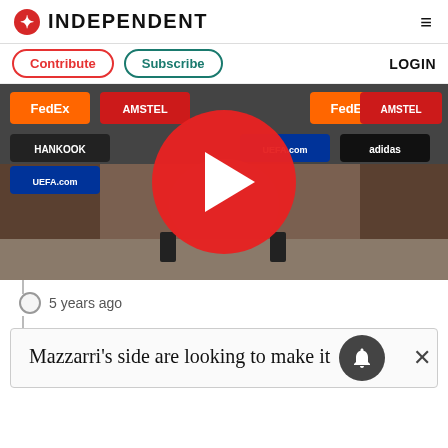INDEPENDENT
Contribute   Subscribe   LOGIN
[Figure (screenshot): Video thumbnail of a press conference with a man in grey shirt seated at a table with sponsor logos (FedEx, AMSTEL, Hankook, UEFA.com, UniCredit, adidas) in background, overlaid with a red play button circle]
5 years ago
Mazzarri's side are looking to make it